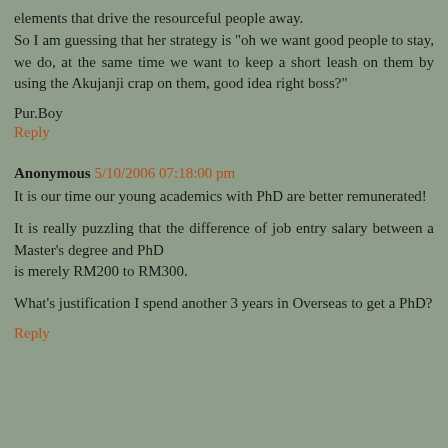elements that drive the resourceful people away.
So I am guessing that her strategy is "oh we want good people to stay, we do, at the same time we want to keep a short leash on them by using the Akujanji crap on them, good idea right boss?"
Pur.Boy
Reply
Anonymous 5/10/2006 07:18:00 pm
It is our time our young academics with PhD are better remunerated!
It is really puzzling that the difference of job entry salary between a Master's degree and PhD
is merely RM200 to RM300.
What's justification I spend another 3 years in Overseas to get a PhD?
Reply